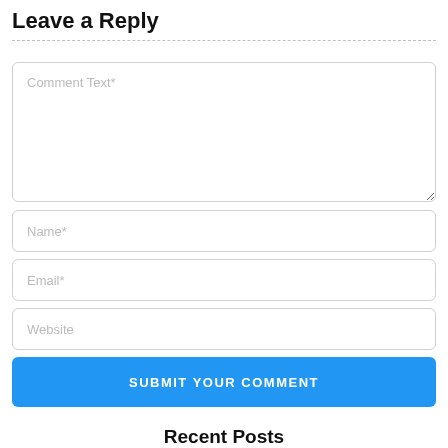Leave a Reply
[Figure (screenshot): Web comment form with fields for Comment Text, Name, Email, Website, and a Submit Your Comment button]
Recent Posts